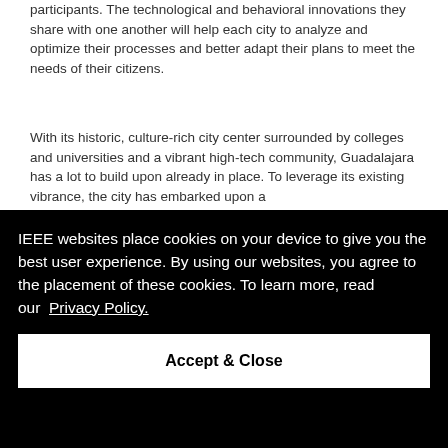participants. The technological and behavioral innovations they share with one another will help each city to analyze and optimize their processes and better adapt their plans to meet the needs of their citizens.
With its historic, culture-rich city center surrounded by colleges and universities and a vibrant high-tech community, Guadalajara has a lot to build upon already in place. To leverage its existing vibrance, the city has embarked upon a [project called the Ciudad Creativa Digital (CCD) project to ... global ...
IEEE websites place cookies on your device to give you the best user experience. By using our websites, you agree to the placement of these cookies. To learn more, read our Privacy Policy.
Accept & Close
the project.